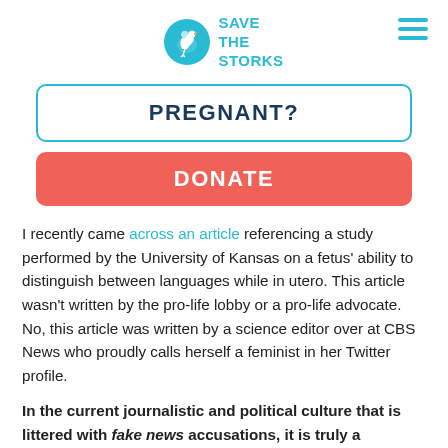[Figure (logo): Save the Storks logo: teal circle with white stork icon, beside teal text reading SAVE THE STORKS]
PREGNANT?
DONATE
I recently came across an article referencing a study performed by the University of Kansas on a fetus' ability to distinguish between languages while in utero. This article wasn't written by the pro-life lobby or a pro-life advocate. No, this article was written by a science editor over at CBS News who proudly calls herself a feminist in her Twitter profile.
In the current journalistic and political culture that is littered with fake news accusations, it is truly a welcomed